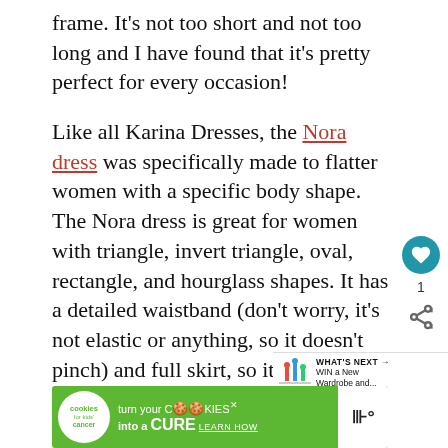frame. It's not too short and not too long and I have found that it's pretty perfect for every occasion!

Like all Karina Dresses, the Nora dress was specifically made to flatter women with a specific body shape. The Nora dress is great for women with triangle, invert triangle, oval, rectangle, and hourglass shapes. It has a detailed waistband (don't worry, it's not elastic or anything, so it doesn't pinch) and full skirt, so it creates the look of a cinched waist and falls loosely over, camouflaging any hippy issues you might have!
[Figure (infographic): Heart/like button widget showing count of 1, and share icon on right side of page]
[Figure (infographic): WHAT'S NEXT arrow banner with people icon and text: WIN a New Wardrobe and...]
[Figure (infographic): Advertisement banner: cookies for kids cancer - turn your COOKIES into a CURE LEARN HOW]